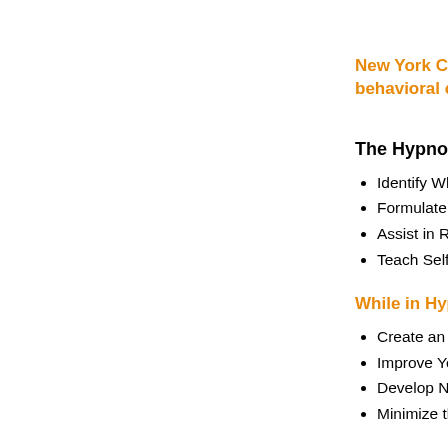New York City N behavioral chang
The Hypnosis Qu
Identify Wh
Formulate a
Assist in Re
Teach Self H
While in Hypnos
Create an A
Improve Yo
Develop Ne
Minimize th
New Yor